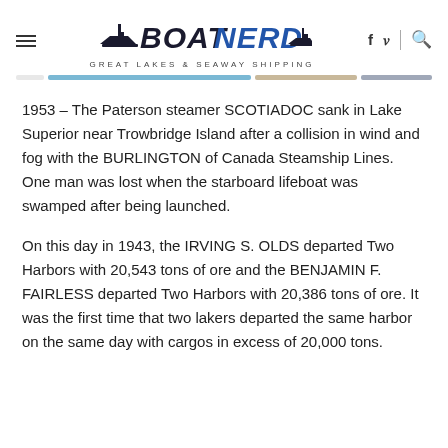BoatNerd – Great Lakes & Seaway Shipping
1953 – The Paterson steamer SCOTIADOC sank in Lake Superior near Trowbridge Island after a collision in wind and fog with the BURLINGTON of Canada Steamship Lines. One man was lost when the starboard lifeboat was swamped after being launched.
On this day in 1943, the IRVING S. OLDS departed Two Harbors with 20,543 tons of ore and the BENJAMIN F. FAIRLESS departed Two Harbors with 20,386 tons of ore. It was the first time that two lakers departed the same harbor on the same day with cargos in excess of 20,000 tons.